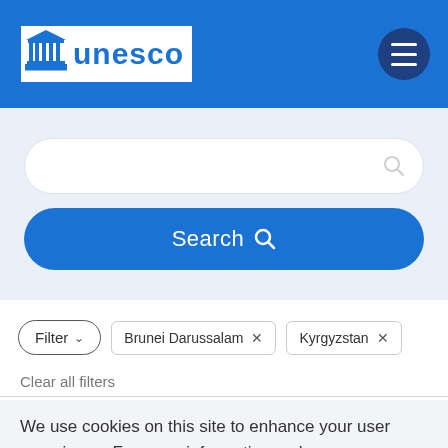[Figure (logo): UNESCO logo with temple icon and blue text on white background with blue border, inside blue header bar with hamburger menu button]
[Figure (screenshot): Search input field (white pill-shaped) with search icon on right, on light blue-grey background]
[Figure (screenshot): Blue pill-shaped Search button with search icon]
[Figure (screenshot): Filter button and active filter tags: Brunei Darussalam × and Kyrgyzstan ×]
Clear all filters
We use cookies on this site to enhance your user experience. For more information on how we use